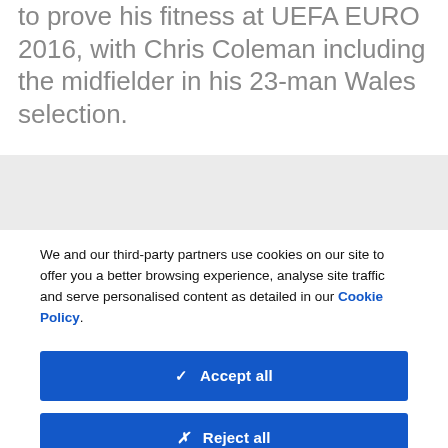to prove his fitness at UEFA EURO 2016, with Chris Coleman including the midfielder in his 23-man Wales selection.
We and our third-party partners use cookies on our site to offer you a better browsing experience, analyse site traffic and serve personalised content as detailed in our Cookie Policy.
✓  Accept all
✗  Reject all
Cookie settings >